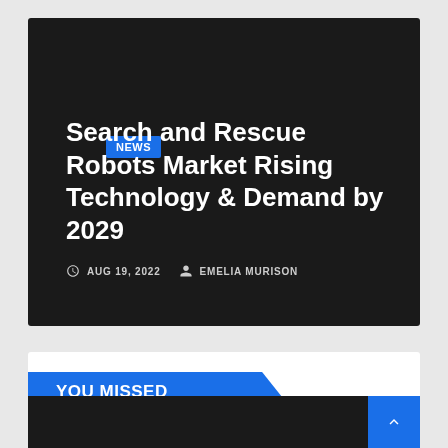NEWS
Search and Rescue Robots Market Rising Technology & Demand by 2029
AUG 19, 2022   EMELIA MURISON
YOU MISSED